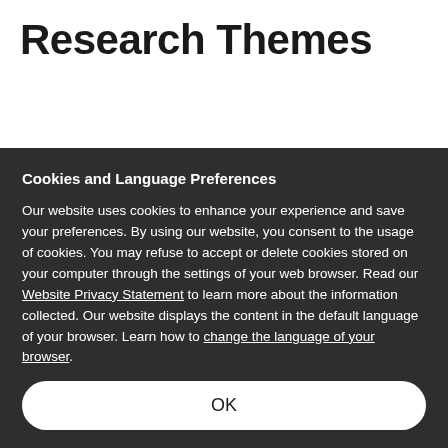Research Themes
Cookies and Language Preferences
Our website uses cookies to enhance your experience and save your preferences. By using our website, you consent to the usage of cookies. You may refuse to accept or delete cookies stored on your computer through the settings of your web browser. Read our Website Privacy Statement to learn more about the information collected. Our website displays the content in the default language of your browser. Learn how to change the language of your browser.
OK